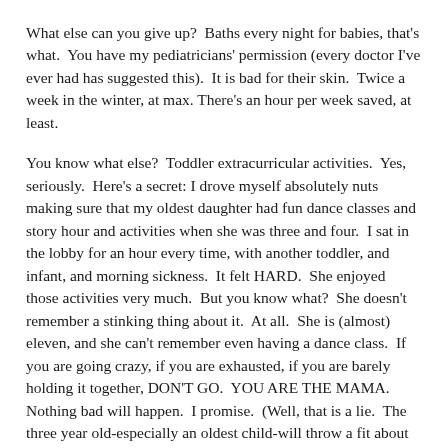What else can you give up?  Baths every night for babies, that's what.  You have my pediatricians' permission (every doctor I've ever had has suggested this).  It is bad for their skin.  Twice a week in the winter, at max. There's an hour per week saved, at least.
You know what else?  Toddler extracurricular activities.  Yes, seriously.  Here's a secret: I drove myself absolutely nuts making sure that my oldest daughter had fun dance classes and story hour and activities when she was three and four.  I sat in the lobby for an hour every time, with another toddler, and infant, and morning sickness.  It felt HARD.  She enjoyed those activities very much.  But you know what?  She doesn't remember a stinking thing about it.  At all.  She is (almost) eleven, and she can't remember even having a dance class.  If you are going crazy, if you are exhausted, if you are barely holding it together, DON'T GO.  YOU ARE THE MAMA.  Nothing bad will happen.  I promise.  (Well, that is a lie.  The three year old-especially an oldest child-will throw a fit about missing a class, but she will be quickly distracted with a yay!-picnic-dinner idea).
Corralling all five kids at church by yourself makes you stabby?